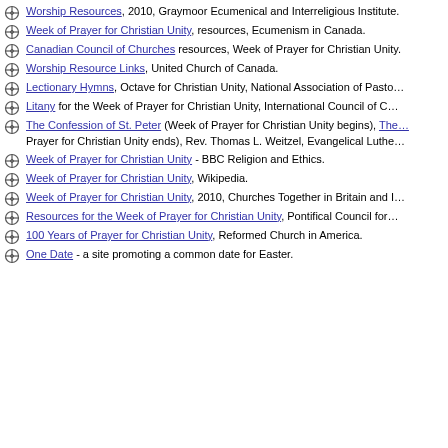Worship Resources, 2010, Graymoor Ecumenical and Interreligious Institute.
Week of Prayer for Christian Unity, resources, Ecumenism in Canada.
Canadian Council of Churches resources, Week of Prayer for Christian Unity.
Worship Resource Links, United Church of Canada.
Lectionary Hymns, Octave for Christian Unity, National Association of Pasto...
Litany for the Week of Prayer for Christian Unity, International Council of C...
The Confession of St. Peter (Week of Prayer for Christian Unity begins), The... Prayer for Christian Unity ends), Rev. Thomas L. Weitzel, Evangelical Luthe...
Week of Prayer for Christian Unity - BBC Religion and Ethics.
Week of Prayer for Christian Unity, Wikipedia.
Week of Prayer for Christian Unity, 2010, Churches Together in Britain and I...
Resources for the Week of Prayer for Christian Unity, Pontifical Council for...
100 Years of Prayer for Christian Unity, Reformed Church in America.
One Date - a site promoting a common date for Easter.